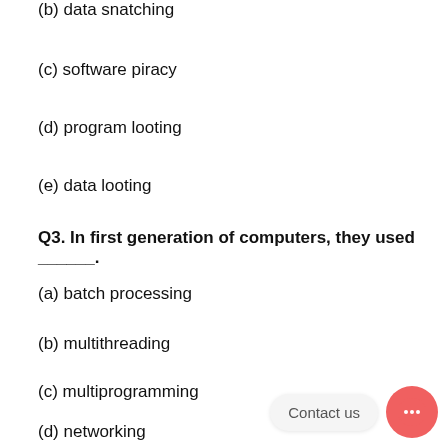(b) data snatching
(c) software piracy
(d) program looting
(e) data looting
Q3. In first generation of computers, they used ______.
(a) batch processing
(b) multithreading
(c) multiprogramming
(d) networking